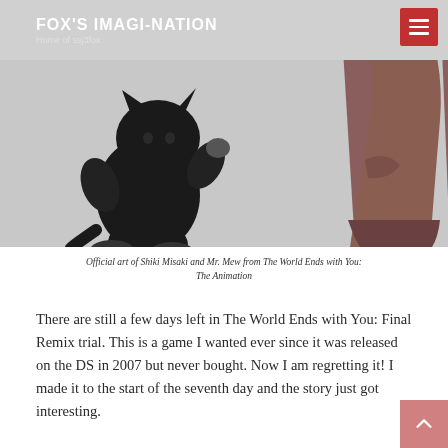FOX'S IMAGI-NATION
Home of ssj3fox
[Figure (illustration): Official illustration of Shiki Misaki (lower body, brown legs and feet) and Mr. Mew (a small black cat plush toy) from The World Ends with You: The Animation, on a light grey background.]
Official art of Shiki Misaki and Mr. Mew from The World Ends with You: The Animation
There are still a few days left in The World Ends with You: Final Remix trial. This is a game I wanted ever since it was released on the DS in 2007 but never bought. Now I am regretting it! I made it to the start of the seventh day and the story just got interesting.